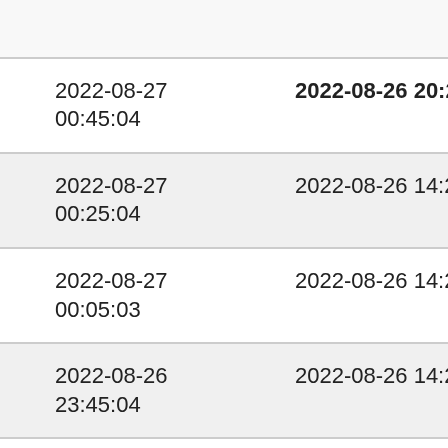| col1 | col2 | col3 |
| --- | --- | --- |
|  |  | cu |
| 2022-08-27 00:45:04 | 2022-08-26 20:29:52 | cu |
| 2022-08-27 00:25:04 | 2022-08-26 14:23:22 | 4. |
| 2022-08-27 00:05:03 | 2022-08-26 14:23:22 | 3. |
| 2022-08-26 23:45:04 | 2022-08-26 14:23:22 | 3. |